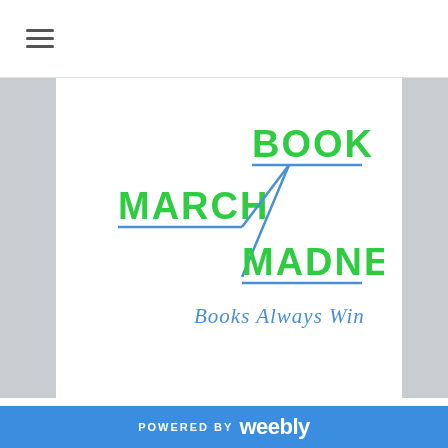☰ (hamburger menu icon)
[Figure (logo): March Book Madness logo with green bold text 'BOOK' at top right, 'MARCH' at left, 'MADNESS' at bottom right, connected by blue bracket lines, and blue cursive text 'Books Always Win' below]
Welcome to March Book Madness 2023!
POWERED BY weebly